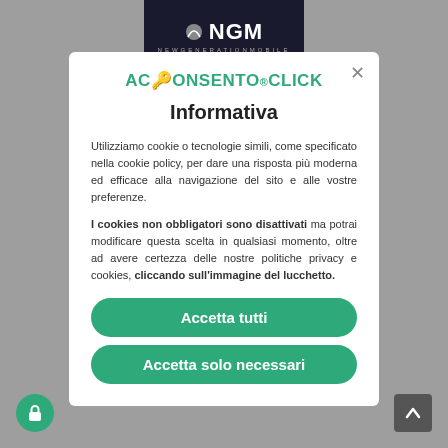[Figure (logo): NGM New Generation Mobile logo on dark background bar at top]
[Figure (logo): Aconsento.click green brand logo inside modal]
Informativa
Utilizziamo cookie o tecnologie simili, come specificato nella cookie policy, per dare una risposta più moderna ed efficace alla navigazione del sito e alle vostre preferenze.
I cookies non obbligatori sono disattivati ma potrai modificare questa scelta in qualsiasi momento, oltre ad avere certezza delle nostre politiche privacy e cookies, cliccando sull'immagine del lucchetto.
Accetta tutti
Accetta solo necessari